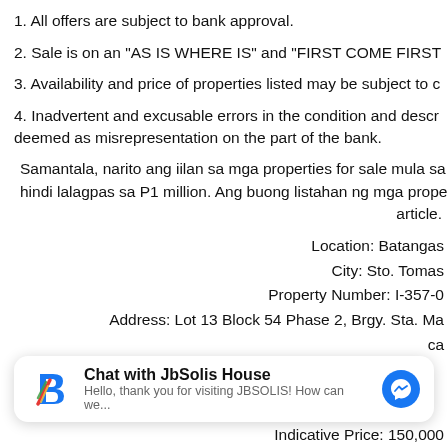1. All offers are subject to bank approval.
2. Sale is on an "AS IS WHERE IS" and "FIRST COME FIRST
3. Availability and price of properties listed may be subject to c
4. Inadvertent and excusable errors in the condition and descr deemed as misrepresentation on the part of the bank.
Samantala, narito ang iilan sa mga properties for sale mula sa hindi lalagpas sa P1 million. Ang buong listahan ng mga prope article.
Location: Batangas City: Sto. Tomas Property Number: I-357-0 Address: Lot 13 Block 54 Phase 2, Brgy. Sta. Ma
[Figure (logo): JbSolis House chat widget logo with colorful B-shaped icon]
Chat with JbSolis House
Hello, thank you for visiting JBSOLIS! How can we...
Indicative Price: 150,000